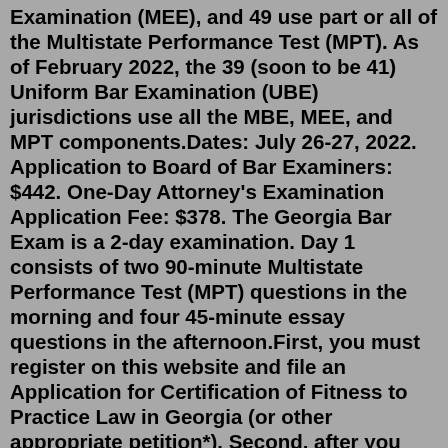Examination (MEE), and 49 use part or all of the Multistate Performance Test (MPT). As of February 2022, the 39 (soon to be 41) Uniform Bar Examination (UBE) jurisdictions use all the MBE, MEE, and MPT components.Dates: July 26-27, 2022. Application to Board of Bar Examiners: $442. One-Day Attorney's Examination Application Fee: $378. The Georgia Bar Exam is a 2-day examination. Day 1 consists of two 90-minute Multistate Performance Test (MPT) questions in the morning and four 45-minute essay questions in the afternoon.First, you must register on this website and file an Application for Certification of Fitness to Practice Law in Georgia (or other appropriate petition*). Second, after you have been notified that the Fitness Board has certified you as fit to practice law, you must timely file a Bar Exam Application to become eligible to sit for a bar exam.Mar 03, 2009 · May 18, 2022. No Comments. on DC February 2022 Results and More MBE News. DC released their results a couple weeks ago the the pass list is publicly available here. 162 people passed out of